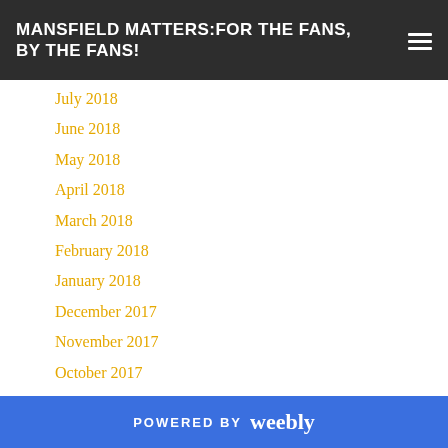MANSFIELD MATTERS: FOR THE FANS, BY THE FANS!
July 2018
June 2018
May 2018
April 2018
March 2018
February 2018
January 2018
December 2017
November 2017
October 2017
September 2017
August 2017
July 2017
June 2017
POWERED BY weebly